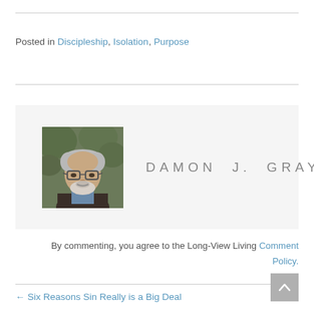Posted in Discipleship, Isolation, Purpose
[Figure (photo): Headshot of Damon J. Gray — older man with glasses and white beard, wearing a dark jacket, with green foliage in the background.]
DAMON J. GRAY
By commenting, you agree to the Long-View Living Comment Policy.
← Six Reasons Sin Really is a Big Deal